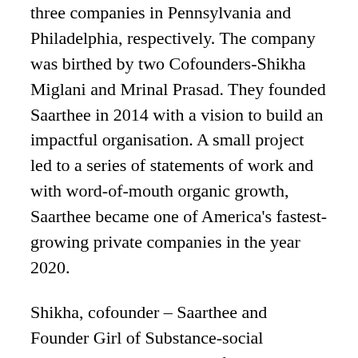three companies in Pennsylvania and Philadelphia, respectively. The company was birthed by two Cofounders-Shikha Miglani and Mrinal Prasad. They founded Saarthee in 2014 with a vision to build an impactful organisation. A small project led to a series of statements of work and with word-of-mouth organic growth, Saarthee became one of America's fastest-growing private companies in the year 2020.
Shikha, cofounder – Saarthee and Founder Girl of Substance-social entrepreneurship initiative for gender equality brings to Saarthee eighteen years of industry experience in analytics, technology, and consulting. She